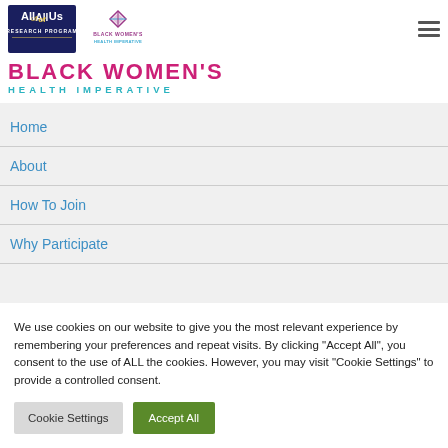[Figure (logo): All of Us Research Program logo - white text on dark navy background with 'All of Us' in stylized font and 'RESEARCH PROGRAM' below]
[Figure (logo): Black Women's Health Imperative logo - diamond/chevron pattern above text]
BLACK WOMEN'S HEALTH IMPERATIVE
Home
About
How To Join
Why Participate
We use cookies on our website to give you the most relevant experience by remembering your preferences and repeat visits. By clicking "Accept All", you consent to the use of ALL the cookies. However, you may visit "Cookie Settings" to provide a controlled consent.